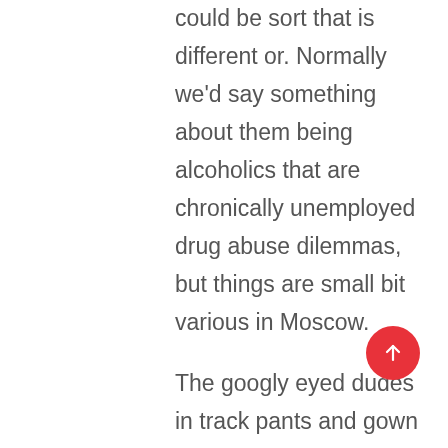could be sort that is different or. Normally we'd say something about them being alcoholics that are chronically unemployed drug abuse dilemmas, but things are small bit various in Moscow.
The googly eyed dudes in track pants and gown footwear, passed away on park benches, do occur right right here, but you can find large amount of rich guys residing in the town too. The majority of that Russian oil cash has trickled straight straight back here towards the money, so expect you'll see an alternate part of Russian males right here.
Any Russian man with cash, and that's whom your competitors is, may be dressed